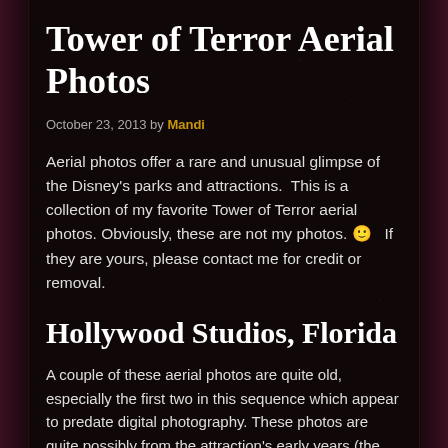Tower of Terror Aerial Photos
October 23, 2013 by Mandi
Aerial photos offer a rare and unusual glimpse of the Disney's parks and attractions.  This is a collection of my favorite Tower of Terror aerial photos. Obviously, these are not my photos. 🙂   If they are yours, please contact me for credit or removal.
Hollywood Studios, Florida
A couple of these aerial photos are quite old, especially the first two in this sequence which appear to predate digital photography. These photos are quite possibly from the attraction's early years (the Florida Tower of